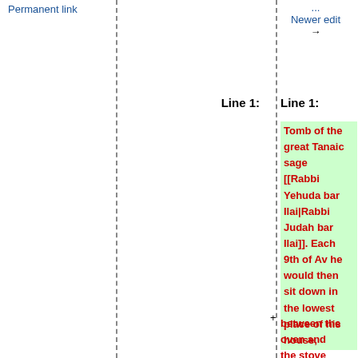Permanent link
Newer edit →
Line 1:
Line 1:
Tomb of the great Tanaic sage [[Rabbi Yehuda bar Ilai|Rabbi Judah bar Ilai]]. Each 9th of Av he would then sit down in the lowest place of his house, between the oven and the stove appear as if a very close